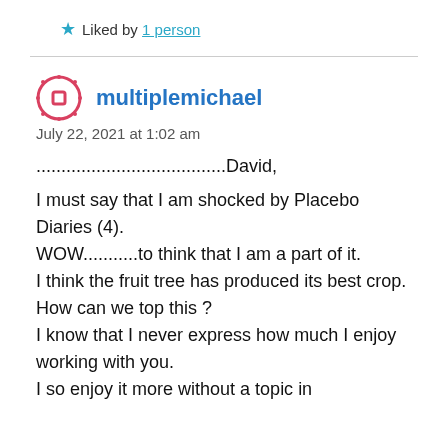★ Liked by 1 person
multiplemichael
July 22, 2021 at 1:02 am
......................................David,
I must say that I am shocked by Placebo Diaries (4).
WOW...........to think that I am a part of it.
I think the fruit tree has produced its best crop.
How can we top this ?
I know that I never express how much I enjoy working with you.
I so enjoy it more without a topic in...